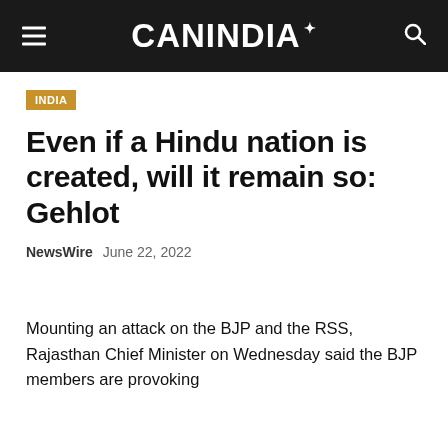CANINDIA
INDIA
Even if a Hindu nation is created, will it remain so: Gehlot
NewsWire   June 22, 2022
Mounting an attack on the BJP and the RSS, Rajasthan Chief Minister on Wednesday said the BJP members are provoking